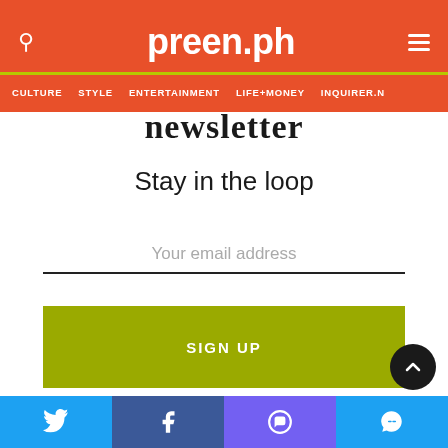preen.ph
CULTURE  STYLE  ENTERTAINMENT  LIFE+MONEY  INQUIRER.N
newsletter
Stay in the loop
Your email address
SIGN UP
By subscribing, you agree to our Terms of Use and Privacy Policy.
Twitter  Facebook  Viber  Messenger